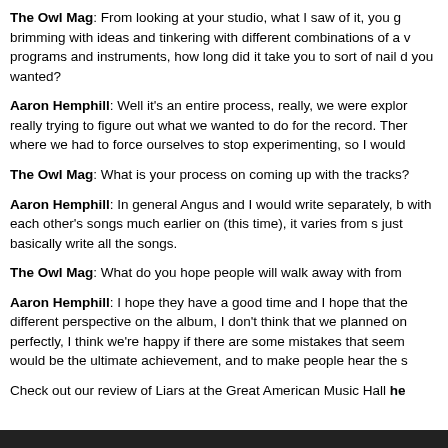The Owl Mag: From looking at your studio, what I saw of it, you g brimming with ideas and tinkering with different combinations of a v programs and instruments, how long did it take you to sort of nail d you wanted?
Aaron Hemphill: Well it's an entire process, really, we were explor really trying to figure out what we wanted to do for the record. Ther where we had to force ourselves to stop experimenting, so I would
The Owl Mag: What is your process on coming up with the tracks?
Aaron Hemphill: In general Angus and I would write separately, b with each other's songs much earlier on (this time), it varies from s just basically write all the songs.
The Owl Mag: What do you hope people will walk away with from
Aaron Hemphill: I hope they have a good time and I hope that the different perspective on the album, I don't think that we planned on perfectly, I think we're happy if there are some mistakes that seem would be the ultimate achievement, and to make people hear the s
Check out our review of Liars at the Great American Music Hall he